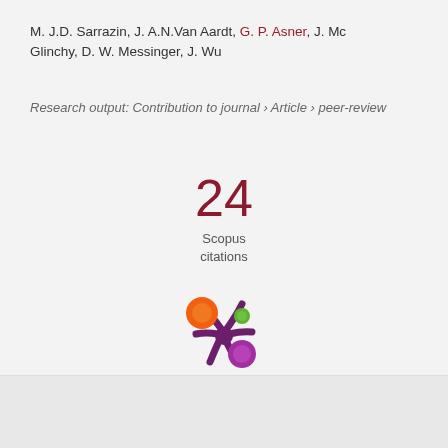M. J.D. Sarrazin, J. A.N.Van Aardt, G. P. Asner, J. Mc Glinchy, D. W. Messinger, J. Wu
Research output: Contribution to journal › Article › peer-review
24 Scopus citations
[Figure (logo): Altmetric donut/flower logo with orange, green, and purple circles connected by dark purple splatter shape]
Overview
Fingerprint